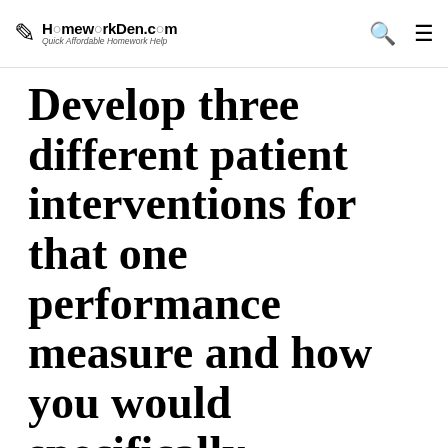HomeworkDen.com — Quick Affordable Homework Help
Develop three different patient interventions for that one performance measure and how you would specifically implement the intervention and measure the outcomes for that particular